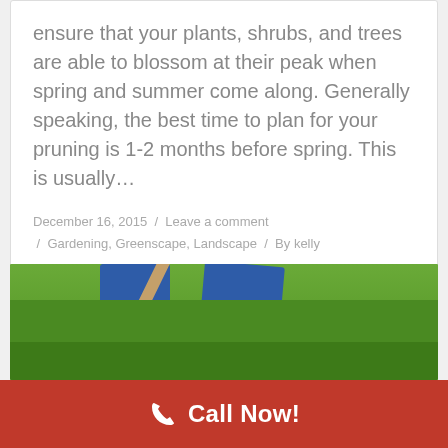ensure that your plants, shrubs, and trees are able to blossom at their peak when spring and summer come along. Generally speaking, the best time to plan for your pruning is 1-2 months before spring. This is usually…
December 16, 2015 / Leave a comment / Gardening, Greenscape, Landscape / By kelly
[Figure (photo): Person using a garden fork on green grass — close-up of legs in jeans and dark shoes pressing a fork into lawn]
Call Now!